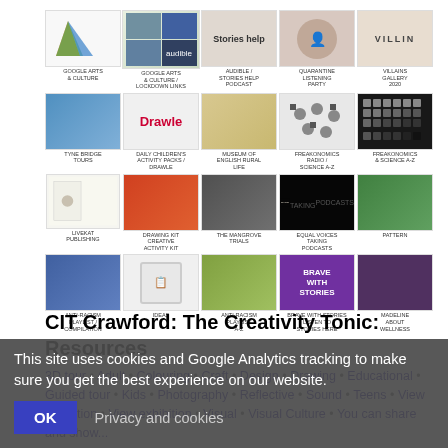[Figure (screenshot): Grid of 4 rows × 5 columns of resource thumbnails from CIT Crawford website, each with a small image and caption label below]
CIT Crawford: The Creativity Tonic: Resources
3D tour • Adult • Colouring • Craft • Design • Drawing • Educational • Guided tour • Kids • Photography • Reflective • Sound • Teens • View collection • View exhibition • Visual • Visual Culture • You can share and show...
This site uses cookies and Google Analytics tracking to make sure you get the best experience on our website.
OK  Privacy and cookies